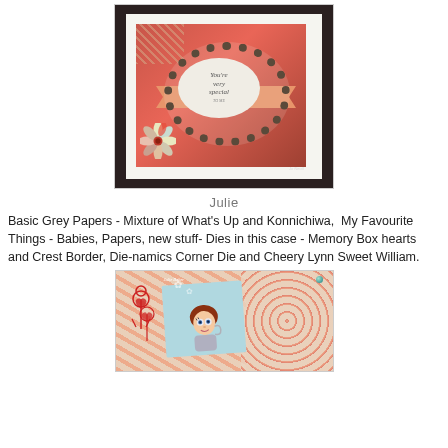[Figure (photo): Handmade greeting card with red patterned background, lace doily circle frame, oval center with 'You're very special to me' in cursive, decorative flower embellishment, and peach banner. Signed 'Jo Nevill'.]
Julie
Basic Grey Papers - Mixture of What's Up and Konnichiwa,  My Favourite Things - Babies, Papers, new stuff- Dies in this case - Memory Box hearts and Crest Border, Die-namics Corner Die and Cheery Lynn Sweet William.
[Figure (photo): Partially visible handmade card with peach/coral patterned papers, blue card insert with illustrated character (child with brown hair), red wire flower embellishments, and teal gem. Signed 'Julie Baker'.]